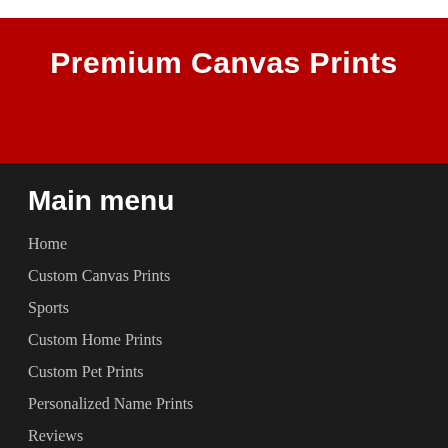Premium Canvas Prints
Main menu
Home
Custom Canvas Prints
Sports
Custom Home Prints
Custom Pet Prints
Personalized Name Prints
Reviews
Join Our Mailing List